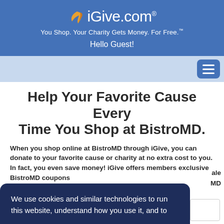iGive.com® — You Shop. Your Charity Gets Money. For Free.™ — Hello Guest!
Help Your Favorite Cause Every Time You Shop at BistroMD.
When you shop online at BistroMD through iGive, you can donate to your favorite cause or charity at no extra cost to you. In fact, you even save money! iGive offers members exclusive BistroMD coupons
We use cookies and similar technologies to run this website, understand how you use it, and to